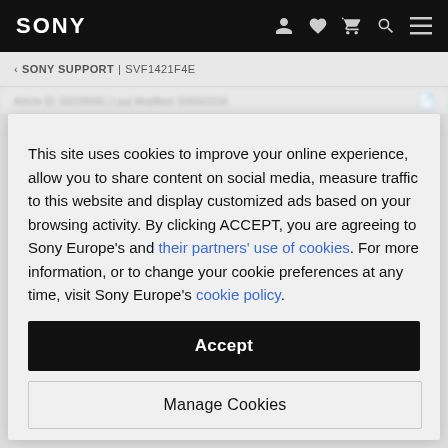SONY
‹ SONY SUPPORT | SVF1421F4E
This site uses cookies to improve your online experience, allow you to share content on social media, measure traffic to this website and display customized ads based on your browsing activity. By clicking ACCEPT, you are agreeing to Sony Europe's and their partners' use of cookies. For more information, or to change your cookie preferences at any time, visit Sony Europe's cookie policy.
Accept
Manage Cookies